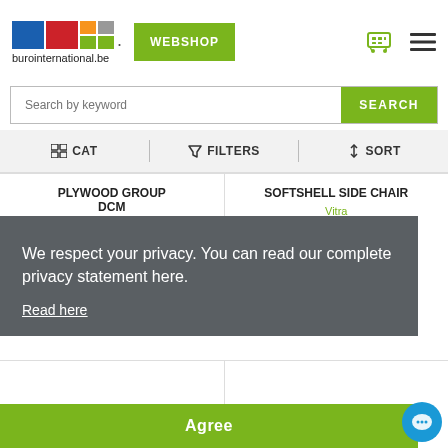[Figure (logo): Burointernational.be logo with colored squares (blue, red, green, orange, gray) and website name]
WEBSHOP
Search by keyword
SEARCH
CAT  FILTERS  SORT
PLYWOOD GROUP DCM
Vitra
SOFTSHELL SIDE CHAIR
Vitra
We respect your privacy. You can read our complete privacy statement here.
Read here
Agree